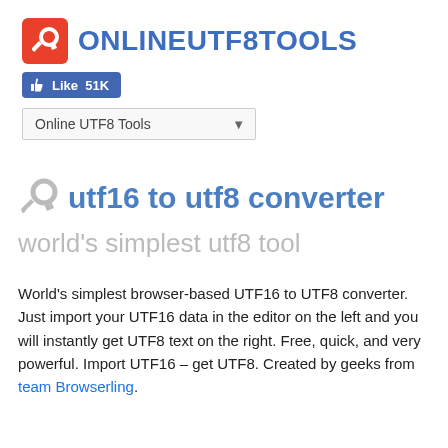ONLINEUTF8TOOLS
[Figure (logo): Red square icon with white wrench symbol representing OnlineUTF8Tools logo]
Like 51K
Online UTF8 Tools ▼
utf16 to utf8 converter
world's simplest utf8 tool
World's simplest browser-based UTF16 to UTF8 converter. Just import your UTF16 data in the editor on the left and you will instantly get UTF8 text on the right. Free, quick, and very powerful. Import UTF16 – get UTF8. Created by geeks from team Browserling.